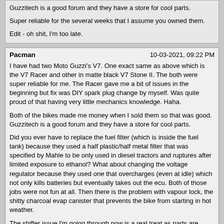Guzzitech is a good forum and they have a store for cool parts.

Super reliable for the several weeks that I assume you owned them.

Edit - oh shit, I'm too late.
Pacman	10-03-2021, 09:22 PM
I have had two Moto Guzzi's V7. One exact same as above which is the V7 Racer and other in matte black V7 Stone II. The both were super reliable for me. The Racer gave me a bit of issues in the beginning but fix was DIY spark plug change by myself. Was quite proud of that having very little mechanics knowledge. Haha.

Both of the bikes made me money when I sold them so that was good. Guzzitech is a good forum and they have a store for cool parts.

Did you ever have to replace the fuel filter (which is inside the fuel tank) because they used a half plastic/half metal filter that was specified by Mahle to be only used in diesel tractors and ruptures after limited exposure to ethanol? What about changing the voltage regulator because they used one that overcharges (even at idle) which not only kills batteries but eventually takes out the ecu. Both of those jobs were not fun at all. Then there is the problem with vapour lock, the shitty charcoal evap canister that prevents the bike from starting in hot weather.

The shifter issue I'm going through now is a real treat as parts are delayed and the dealer hasn't been able to get oil filters in for over 9 months.

I haven't even bothered doing the spark plug caps (I'm assuming you are referring to that issue) yet as the factory parts are no longer available so I'm searching for another solution. Luckily, mine are working fine for now but I want to get ahead of it.
90_Shelby	10-03-2021, 10:05 PM